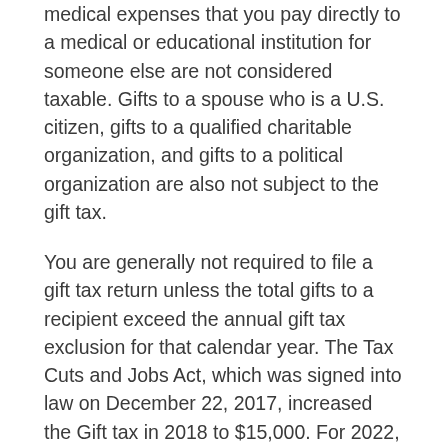medical expenses that you pay directly to a medical or educational institution for someone else are not considered taxable. Gifts to a spouse who is a U.S. citizen, gifts to a qualified charitable organization, and gifts to a political organization are also not subject to the gift tax.
You are generally not required to file a gift tax return unless the total gifts to a recipient exceed the annual gift tax exclusion for that calendar year. The Tax Cuts and Jobs Act, which was signed into law on December 22, 2017, increased the Gift tax in 2018 to $15,000. For 2022, the gift tax is $16,000 (up from $15,000 for 2021). The exclusion amount is indexed annually for inflation. A separate exclusion is applied for each recipient. In addition, gifts from spouses are treated separately; so together, each spouse can gift an amount up to the annual exclusion amount to the same person. Spouses can also elect to split gifts so that all gifts made by either spouse during a year are treated as made one-half by each spouse. This